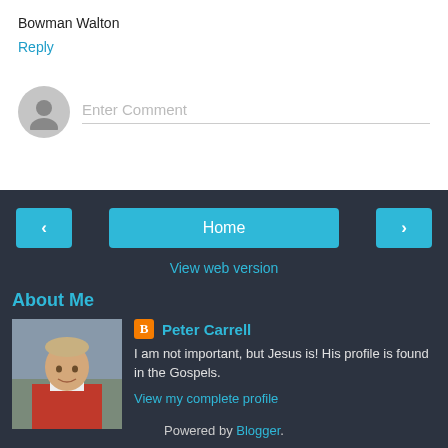Bowman Walton
Reply
Enter Comment
Home
View web version
About Me
[Figure (photo): Profile photo of Peter Carrell, a man in clerical collar and red vestment]
Peter Carrell
I am not important, but Jesus is! His profile is found in the Gospels.
View my complete profile
Powered by Blogger.